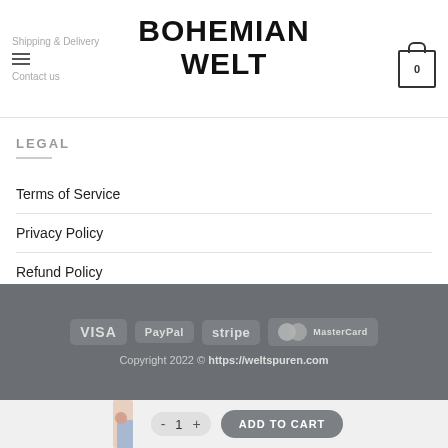Shipping & Delivery  BOHEMIAN WELT  Contact us  0
LEGAL
Terms of Service
Privacy Policy
Refund Policy
VISA  PayPal  stripe  MasterCard  Copyright 2022 © https://weltspuren.com
- 1 + ADD TO CART